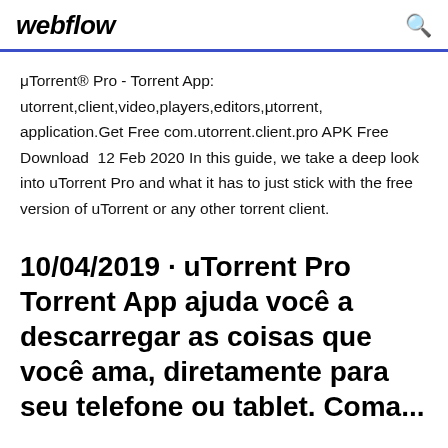webflow
μTorrent® Pro - Torrent App: utorrent,client,video,players,editors,μtorrent,application.Get Free com.utorrent.client.pro APK Free Download  12 Feb 2020 In this guide, we take a deep look into uTorrent Pro and what it has to just stick with the free version of uTorrent or any other torrent client.
10/04/2019 · uTorrent Pro Torrent App ajuda você a descarregar as coisas que você ama, diretamente para seu telefone ou tablet. Coman...